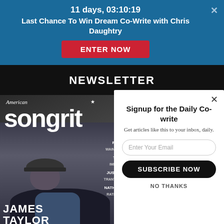11 days, 03:10:19
Last Chance To Win Dream Co-Write with Chris Daughtry
ENTER NOW
NEWSLETTER
[Figure (photo): American Songwriter magazine cover featuring James Taylor on the cover, wearing a grey cap and blue shirt, seated. Text reads 'JAMES TAYLOR' at bottom. Other text visible: RU WAINW, TA IMPA, JUSTI TRANTE, NATHA RATEL]
Signup for the Daily Co-write
Get articles like this to your inbox, daily.
Enter Your Email
SUBSCRIBE NOW
NO THANKS